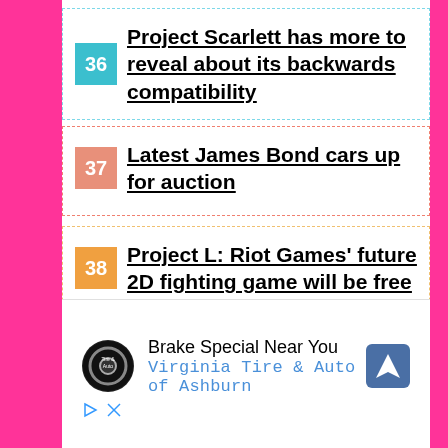36 Project Scarlett has more to reveal about its backwards compatibility
37 Latest James Bond cars up for auction
38 Project L: Riot Games' future 2D fighting game will be free
[Figure (infographic): Advertisement: Brake Special Near You - Virginia Tire & Auto of Ashburn, with tire shop logo and navigation icon]